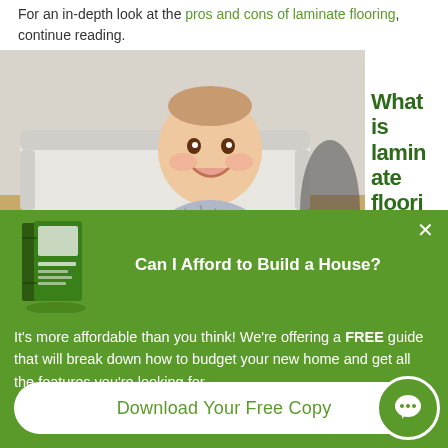For an in-depth look at the pros and cons of laminate flooring, continue reading.
[Figure (photo): Baby/toddler smiling and sitting on a laminate floor in a living room, holding a red toy, with a white sofa in the background]
What is laminate flooring?
[Figure (infographic): Green popup overlay with book image titled 'Can I Afford to Build a House?' with text: It's more affordable than you think! We're offering a FREE guide that will break down how to budget your new home and get all the features you're looking for. Download Your Free Copy button at the bottom.]
Can I Afford to Build a House?
It’s more affordable than you think! We’re offering a FREE guide that will break down how to budget your new home and get all the features you’re looking for.
Download Your Free Copy